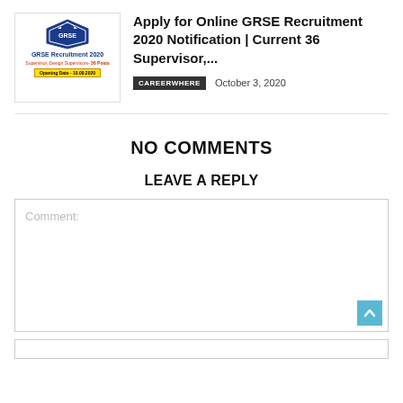[Figure (thumbnail): GRSE Recruitment 2020 thumbnail image with logo, title, supervisor roles, 36 posts, and opening date badge]
Apply for Online GRSE Recruitment 2020 Notification | Current 36 Supervisor,...
CAREERWHERE   October 3, 2020
NO COMMENTS
LEAVE A REPLY
Comment: